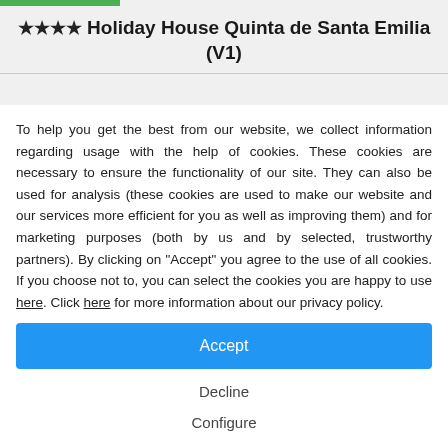★★★★ Holiday House Quinta de Santa Emilia (V1)
To help you get the best from our website, we collect information regarding usage with the help of cookies. These cookies are necessary to ensure the functionality of our site. They can also be used for analysis (these cookies are used to make our website and our services more efficient for you as well as improving them) and for marketing purposes (both by us and by selected, trustworthy partners). By clicking on "Accept" you agree to the use of all cookies. If you choose not to, you can select the cookies you are happy to use here. Click here for more information about our privacy policy.
Accept
Decline
Configure